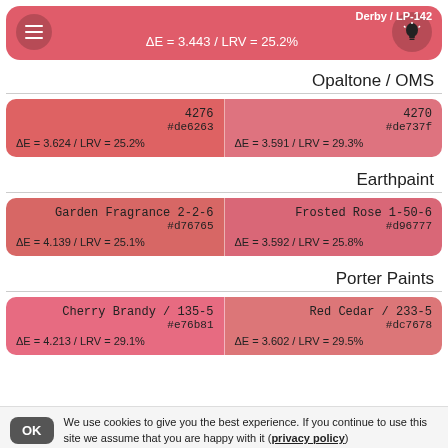Derby / LP-142 | ΔE = 3.443 / LRV = 25.2%
Opaltone / OMS
| Left | Right |
| --- | --- |
| 4276
#de6263
ΔE = 3.624 / LRV = 25.2% | 4270
#de737f
ΔE = 3.591 / LRV = 29.3% |
Earthpaint
| Left | Right |
| --- | --- |
| Garden Fragrance 2-2-6
#d76765
ΔE = 4.139 / LRV = 25.1% | Frosted Rose 1-50-6
#d96777
ΔE = 3.592 / LRV = 25.8% |
Porter Paints
| Left | Right |
| --- | --- |
| Cherry Brandy / 135-5
#e76b81
ΔE = 4.213 / LRV = 29.1% | Red Cedar / 233-5
#dc7678
ΔE = 3.602 / LRV = 29.5% |
We use cookies to give you the best experience. If you continue to use this site we assume that you are happy with it (privacy policy)